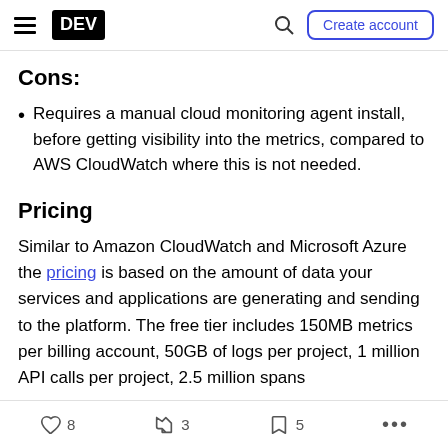DEV | Create account
Cons:
Requires a manual cloud monitoring agent install, before getting visibility into the metrics, compared to AWS CloudWatch where this is not needed.
Pricing
Similar to Amazon CloudWatch and Microsoft Azure the pricing is based on the amount of data your services and applications are generating and sending to the platform. The free tier includes 150MB metrics per billing account, 50GB of logs per project, 1 million API calls per project, 2.5 million spans
8  3  5  ...